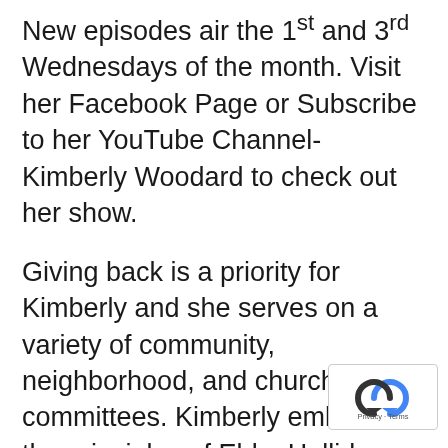New episodes air the 1st and 3rd Wednesdays of the month. Visit her Facebook Page or Subscribe to her YouTube Channel- Kimberly Woodard to check out her show.
Giving back is a priority for Kimberly and she serves on a variety of community, neighborhood, and church committees. Kimberly embodies the principles of Ebby Halliday Realtors® and none more so than Service to the Community. Her clients frequently refer her to family and friends with the knowing Kimberly will help them
[Figure (logo): reCAPTCHA badge with rotating arrows logo and Privacy - Terms text]